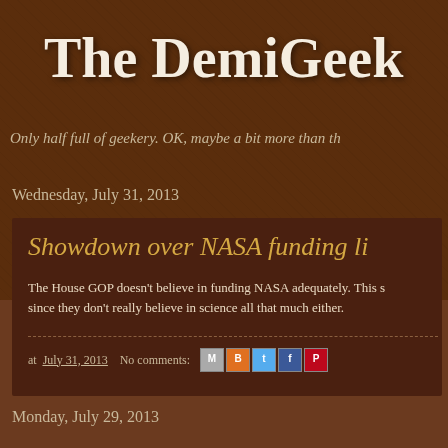The DemiGeek
Only half full of geekery. OK, maybe a bit more than th
Wednesday, July 31, 2013
Showdown over NASA funding li
The House GOP doesn't believe in funding NASA adequately. This s since they don't really believe in science all that much either.
at July 31, 2013   No comments:
Monday, July 29, 2013